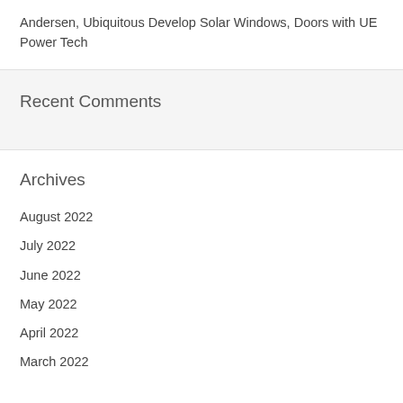Andersen, Ubiquitous Develop Solar Windows, Doors with UE Power Tech
Recent Comments
Archives
August 2022
July 2022
June 2022
May 2022
April 2022
March 2022